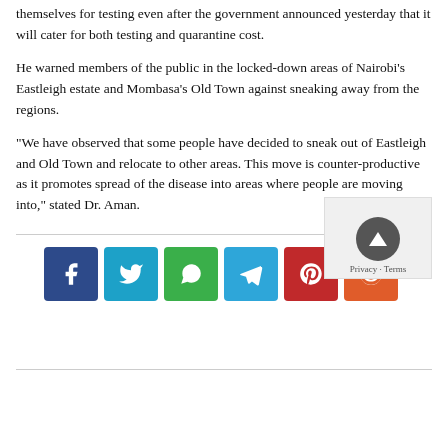themselves for testing even after the government announced yesterday that it will cater for both testing and quarantine cost.
He warned members of the public in the locked-down areas of Nairobi's Eastleigh estate and Mombasa's Old Town against sneaking away from the regions.
“We have observed that some people have decided to sneak out of Eastleigh and Old Town and relocate to other areas. This move is counter-productive as it promotes spread of the disease into areas where people are moving into,” stated Dr. Aman.
[Figure (infographic): Social sharing buttons row: Facebook (dark blue), Twitter (light blue), WhatsApp (green), Telegram (blue), Pinterest (red), Reddit (orange), and a privacy/scroll-to-top widget on the right.]